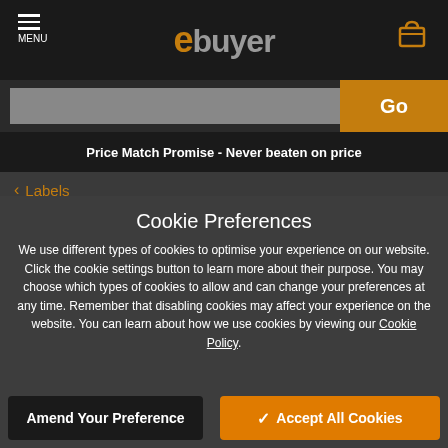ebuyer — MENU | Go
Price Match Promise - Never beaten on price
< Labels
Cookie Preferences
We use different types of cookies to optimise your experience on our website. Click the cookie settings button to learn more about their purpose. You may choose which types of cookies to allow and can change your preferences at any time. Remember that disabling cookies may affect your experience on the website. You can learn about how we use cookies by viewing our Cookie Policy.
Amend Your Preference | Accept All Cookies